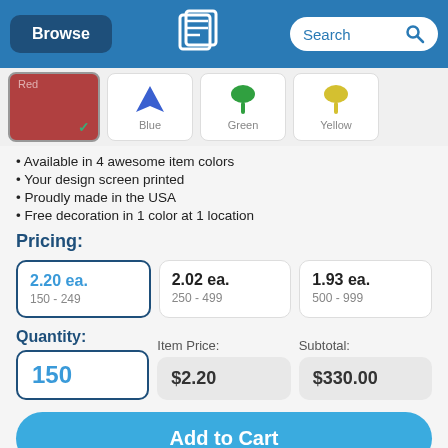Browse | Logo | Search
[Figure (screenshot): Color swatch options: Red (selected with checkmark), Blue (star shape), Green (tulip/leaf shape), Yellow (tulip shape)]
Available in 4 awesome item colors
Your design screen printed
Proudly made in the USA
Free decoration in 1 color at 1 location
Pricing:
| Price | Quantity Range |
| --- | --- |
| 2.20 ea. | 150 - 249 |
| 2.02 ea. | 250 - 499 |
| 1.93 ea. | 500 - 999 |
Quantity: 150   Item Price: $2.20   Subtotal: $330.00
Add to Cart